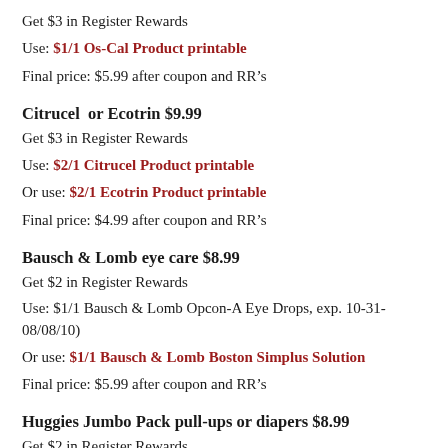Get $3 in Register Rewards
Use: $1/1 Os-Cal Product printable
Final price: $5.99 after coupon and RR's
Citrucel or Ecotrin $9.99
Get $3 in Register Rewards
Use: $2/1 Citrucel Product printable
Or use: $2/1 Ecotrin Product printable
Final price: $4.99 after coupon and RR's
Bausch & Lomb eye care $8.99
Get $2 in Register Rewards
Use: $1/1 Bausch & Lomb Opcon-A Eye Drops, exp. 10-31-08/08/10)
Or use: $1/1 Bausch & Lomb Boston Simplus Solution
Final price: $5.99 after coupon and RR's
Huggies Jumbo Pack pull-ups or diapers $8.99
Get $2 in Register Rewards